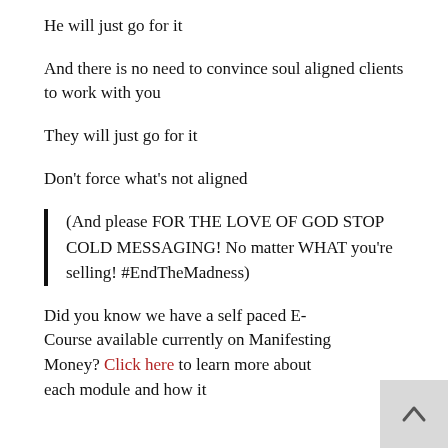He will just go for it
And there is no need to convince soul aligned clients to work with you
They will just go for it
Don't force what's not aligned
(And please FOR THE LOVE OF GOD STOP COLD MESSAGING! No matter WHAT you're selling! #EndTheMadness)
Did you know we have a self paced E-Course available currently on Manifesting Money? Click here to learn more about each module and how it